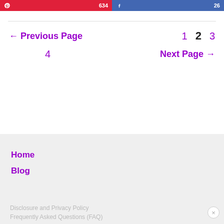[Figure (other): Pinterest share button with red background showing icon and count 634]
[Figure (other): Facebook share button with blue background showing icon and count 26]
← Previous Page
1
2
3
4
Next Page →
Home
Blog
Disclosure and Privacy Policy
Frequently Asked Questions (FAQ)